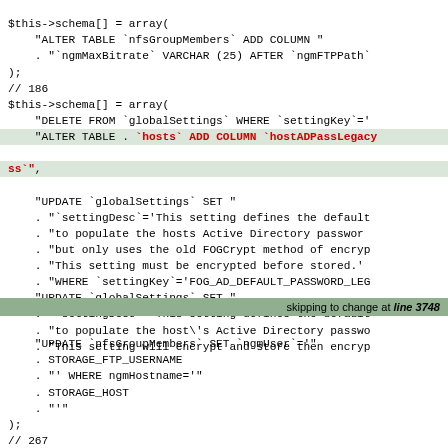$this->schema[] = array(
    "ALTER TABLE `nfsGroupMembers` ADD COLUMN "
    . "`ngmMaxBitrate` VARCHAR (25) AFTER `ngmFTPPath`"
);
// 186
$this->schema[] = array(
    "DELETE FROM `globalSettings` WHERE `settingKey`='"
    "ALTER TABLE . `hosts` ADD COLUMN `hostADPassLegacy`"
    "ss`",
    "UPDATE `globalSettings` SET "
    . "`settingDesc`='This setting defines the default"
    . "to populate the hosts Active Directory password"
    . "but only uses the old FOGCrypt method of encryp"
    . "This setting must be encrypted before stored.'"
    . "WHERE `settingKey`='FOG_AD_DEFAULT_PASSWORD_LEG"
    "UPDATE `globalSettings` SET "
    . "`settingDesc`='This setting defines the default"
    . "to populate the host\'s Active Directory passwo"
    . "This setting will encrypt and store then encryp
skipping to change at line 3748
"UPDATE `nfsGroupMembers` SET `ngmUser`='"
    . STORAGE_FTP_USERNAME
    . "' WHERE ngmHostname='"
    . STORAGE_HOST
    . "'"
);
// 267